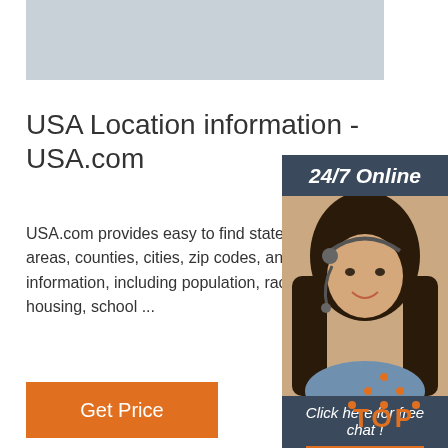[Figure (illustration): Gray banner image at top]
USA Location information - USA.com
USA.com provides easy to find states, metro areas, counties, cities, zip codes, and area information, including population, races, income, housing, school ...
[Figure (illustration): Get Price orange button]
[Figure (illustration): Side advertisement panel with 24/7 Online header, woman with headset photo, Click here for free chat text, and QUOTATION orange button]
[Figure (logo): TOP logo with orange dots forming triangle above orange text TOP]